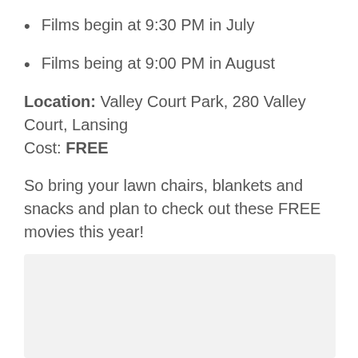Films begin at 9:30 PM in July
Films being at 9:00 PM in August
Location: Valley Court Park, 280 Valley Court, Lansing
Cost: FREE
So bring your lawn chairs, blankets and snacks and plan to check out these FREE movies this year!
[Figure (other): Light gray rectangular box at the bottom of the page, likely a placeholder for an image or embedded content.]